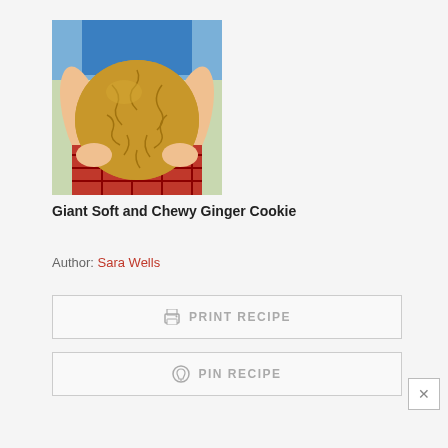[Figure (photo): A person holding a large giant ginger cookie with cracked surface, wearing a plaid skirt and blue top, outdoors.]
Giant Soft and Chewy Ginger Cookie
Author: Sara Wells
PRINT RECIPE
PIN RECIPE